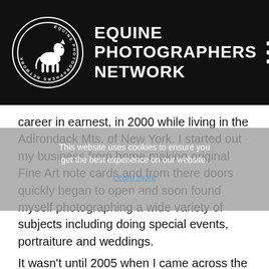EQUINE PHOTOGRAPHERS NETWORK
career in earnest, in 2000 while living in the Adirondack Mts. of New York. I started out my business from home making original Fine Art note cards and from there doors quickly began to open and soon found myself photographing a wide variety of subjects including doing special events, portraiture and weddings.
This website uses cookies to ensure you get the best experience on our website. Learn more Got it!
It wasn't until 2005 when I came across the website of renowned equine photographer, Tony Stromberg, that I saw how I could merge my passion for photography with my lifelong love of horses. Tony's incredibly powerful images struck a cord with such clarity, that I knew exactly what it was I was meant to do. Within